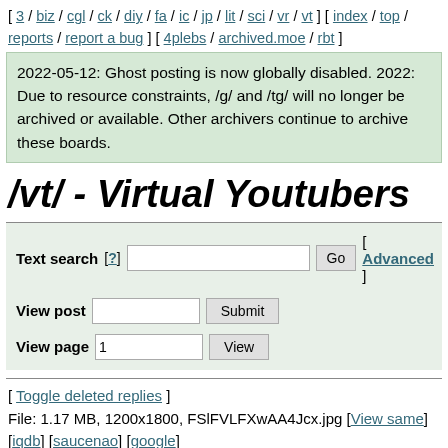[ 3 / biz / cgl / ck / diy / fa / ic / jp / lit / sci / vr / vt ] [ index / top / reports / report a bug ] [ 4plebs / archived.moe / rbt ]
2022-05-12: Ghost posting is now globally disabled. 2022: Due to resource constraints, /g/ and /tg/ will no longer be archived or available. Other archivers continue to archive these boards.
/vt/ - Virtual Youtubers
Text search [?] [Go] [ Advanced ]
View post [input] [Submit]
View page 1 [View]
[ Toggle deleted replies ]
File: 1.17 MB, 1200x1800, FSlFVLFXwAA4Jcx.jpg [View same] [iqdb] [saucenao] [google]
/pcg/ - Phase Connect